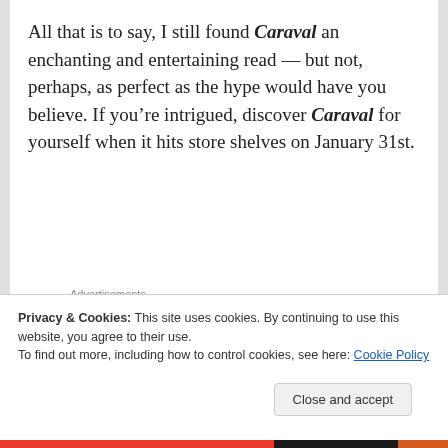All that is to say, I still found Caraval an enchanting and entertaining read – but not, perhaps, as perfect as the hype would have you believe. If you're intrigued, discover Caraval for yourself when it hits store shelves on January 31st.
Advertisements
[Figure (screenshot): Jetpack advertisement banner with green background, Jetpack logo with lightning bolt icon, and partial bottom text]
Privacy & Cookies: This site uses cookies. By continuing to use this website, you agree to their use.
To find out more, including how to control cookies, see here: Cookie Policy